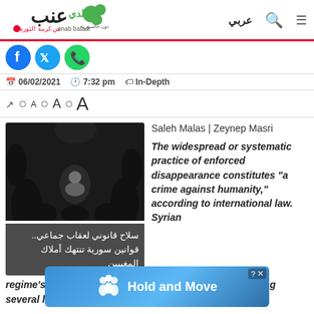[Figure (logo): Enab Baladi news website logo with Arabic text and green/red branding]
06/02/2021  7:32 pm  In-Depth
[Figure (photo): Black and white illustration of a person sitting surrounded by dark figures, representing enforced disappearance]
سلاح قانوني لعقاب جماعي.. قوانين سورية تنتهك أملاك المغيبين
Saleh Malas | Zeynep Masri
The widespread or systematic practice of enforced disappearance constitutes "a crime against humanity," according to international law. Syrian regime's forces have committed severe crimes in creating several laws that the state considers "terrorists."
[Figure (screenshot): Hold and Move advertisement banner overlay]